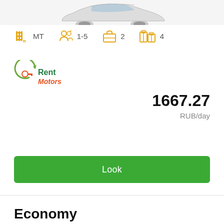[Figure (photo): Partial view of a silver/white car from the front, cropped at top]
MT  1-5  2  4
[Figure (logo): RentMotors logo with green circular arrow and orange/green text]
1667.27
RUB/day
Look
Economy
Hyundai Solaris, Ford Focus, Chevrolet Aveo, Nissan Almera and similar